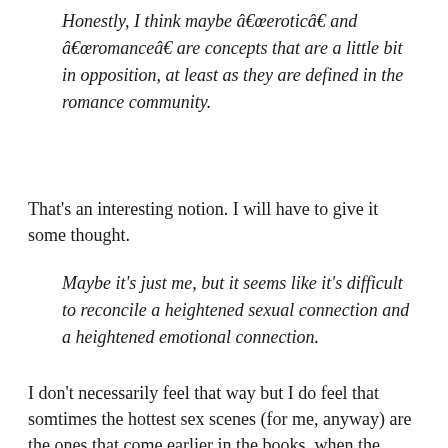Honestly, I think maybe “erotic” and “romance” are concepts that are a little bit in opposition, at least as they are defined in the romance community.
That’s an interesting notion. I will have to give it some thought.
Maybe it’s just me, but it seems like it’s difficult to reconcile a heightened sexual connection and a heightened emotional connection.
I don’t necessarily feel that way but I do feel that somtimes the hottest sex scenes (for me, anyway) are the ones that come earlier in the books, when the characters don’t know each